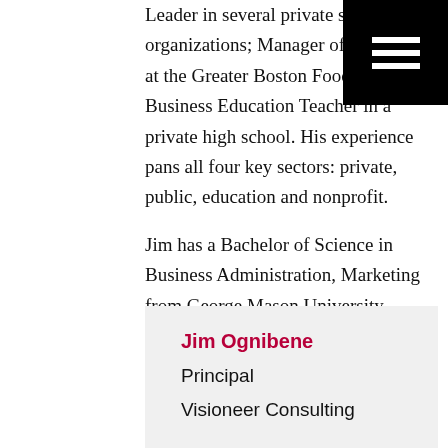Leader in several private sector organizations; Manager of Volunteers at the Greater Boston Food Bank and Business Education Teacher in a private high school. His experience pans all four key sectors: private, public, education and nonprofit.
Jim has a Bachelor of Science in Business Administration, Marketing from George Mason University, Virginia and a Masters of Education in Instructional Design from the University of Massachusetts, Boston.
Jim Ognibene
Principal
Visioneer Consulting